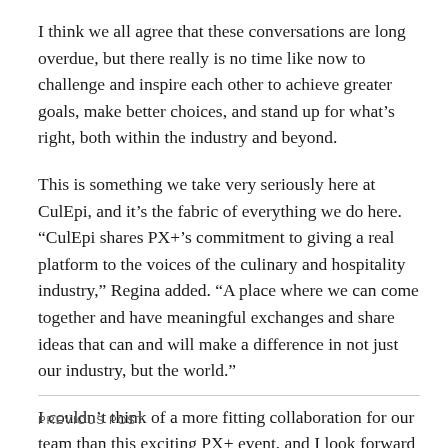I think we all agree that these conversations are long overdue, but there really is no time like now to challenge and inspire each other to achieve greater goals, make better choices, and stand up for what’s right, both within the industry and beyond.
This is something we take very seriously here at CulEpi, and it’s the fabric of everything we do here. “CulEpi shares PX+’s commitment to giving a real platform to the voices of the culinary and hospitality industry,” Regina added. “A place where we can come together and have meaningful exchanges and share ideas that can and will make a difference in not just our industry, but the world.”
I couldn’t think of a more fitting collaboration for our team than this exciting PX+ event, and I look forward to the sparks of change that are about to fly out of Duchess Farms this weekend.
PREVIOUS POST